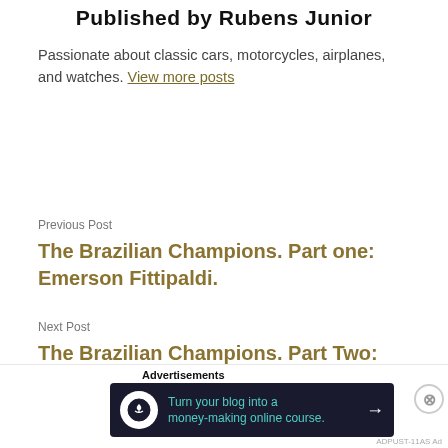Published by Rubens Junior
Passionate about classic cars, motorcycles, airplanes, and watches. View more posts
Previous Post
The Brazilian Champions. Part one: Emerson Fittipaldi.
Next Post
The Brazilian Champions. Part Two: Nelson Piquet.
[Figure (infographic): Advertisement banner: 'Turn your blog into a money-making online course.' with arrow on dark navy background, Advertisements label above.]